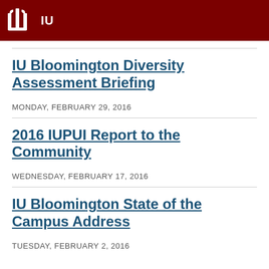IU
IU Bloomington Diversity Assessment Briefing
MONDAY, FEBRUARY 29, 2016
2016 IUPUI Report to the Community
WEDNESDAY, FEBRUARY 17, 2016
IU Bloomington State of the Campus Address
TUESDAY, FEBRUARY 2, 2016